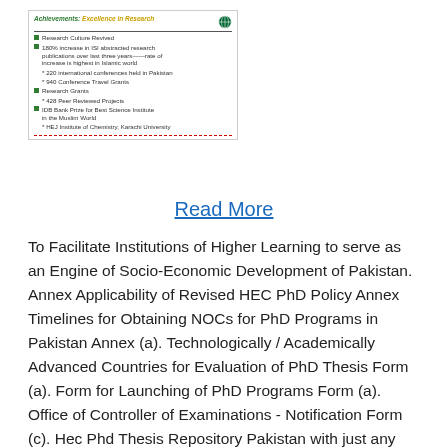[Figure (screenshot): Screenshot of a webpage showing 'Achievements: Excellence in Research' with bullet points about Research Culture Revived, 180% increase in ISI abstracted research publications, 220 international conferences, 940 Conference Travel Grants, Research Grants, 428 Peer Reviewed Projects, IDB Bank Prize for Best Science Institute in the Muslim World, HEJ Institute of Chemistry Karachi University]
Read More
To Facilitate Institutions of Higher Learning to serve as an Engine of Socio-Economic Development of Pakistan. Annex Applicability of Revised HEC PhD Policy Annex Timelines for Obtaining NOCs for PhD Programs in Pakistan Annex (a). Technologically / Academically Advanced Countries for Evaluation of PhD Thesis Form (a). Form for Launching of PhD Programs Form (a). Office of Controller of Examinations - Notification Form (c). Hec Phd Thesis Repository Pakistan with just any college assignment assistance. This choice should be up to you! With us you Hec Phd Thesis Repository Pakistan are in control. You tell us how you